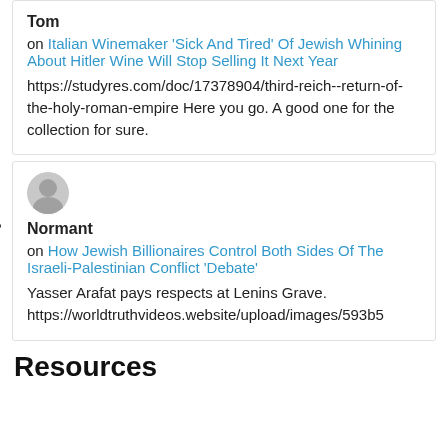Tom
on Italian Winemaker 'Sick And Tired' Of Jewish Whining About Hitler Wine Will Stop Selling It Next Year
https://studyres.com/doc/17378904/third-reich--return-of-the-holy-roman-empire Here you go. A good one for the collection for sure.
Normant
on How Jewish Billionaires Control Both Sides Of The Israeli-Palestinian Conflict 'Debate'
Yasser Arafat pays respects at Lenins Grave. https://worldtruthvideos.website/upload/images/593b5
Resources